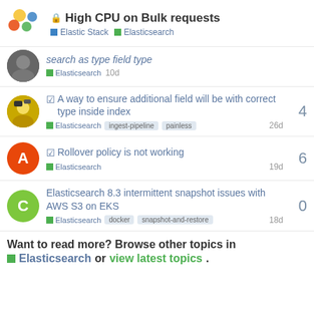High CPU on Bulk requests | Elastic Stack | Elasticsearch
search as type field type | Elasticsearch | 10d
A way to ensure additional field will be with correct type inside index | Elasticsearch | ingest-pipeline | painless | 26d | replies: 4
Rollover policy is not working | Elasticsearch | 19d | replies: 6
Elasticsearch 8.3 intermittent snapshot issues with AWS S3 on EKS | Elasticsearch | docker | snapshot-and-restore | 18d | replies: 0
Want to read more? Browse other topics in Elasticsearch or view latest topics.